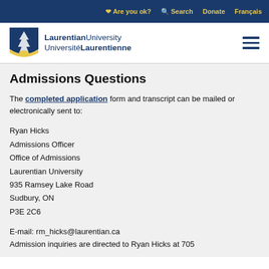Are you ok?  Search  Donate  Français
[Figure (logo): Laurentian University / Université Laurentienne shield logo with navigation bar]
Admissions Questions
The completed application form and transcript can be mailed or electronically sent to:
Ryan Hicks
Admissions Officer
Office of Admissions
Laurentian University
935 Ramsey Lake Road
Sudbury, ON
P3E 2C6
E-mail: rm_hicks@laurentian.ca
Admission inquiries are directed to Ryan Hicks at 705